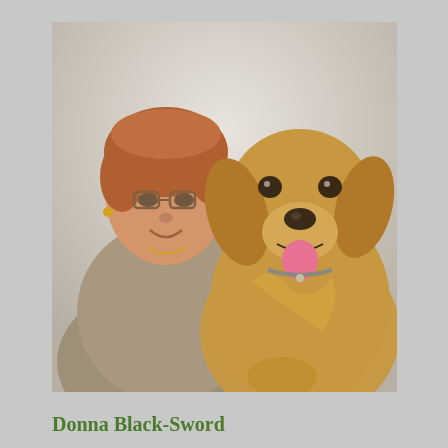[Figure (photo): Portrait photo of a middle-aged woman with short reddish-brown hair and glasses, wearing a grey knit sweater, posing next to a golden retriever dog. The background is a light grey/white fabric backdrop.]
Donna Black-Sword